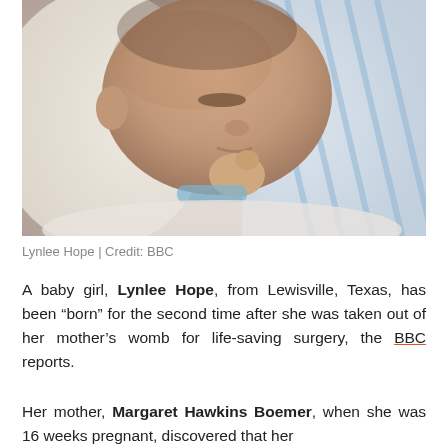[Figure (photo): A sleeping newborn baby wrapped in a light blue striped blanket, lying on white fabric. The baby's hand is raised near its face.]
Lynlee Hope | Credit: BBC
A baby girl, Lynlee Hope, from Lewisville, Texas, has been “born” for the second time after she was taken out of her mother’s womb for life-saving surgery, the BBC reports.
Her mother, Margaret Hawkins Boemer, when she was 16 weeks pregnant, discovered that her